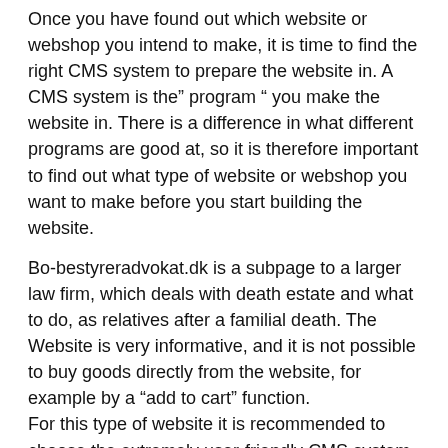Once you have found out which website or webshop you intend to make, it is time to find the right CMS system to prepare the website in. A CMS system is the" program " you make the website in. There is a difference in what different programs are good at, so it is therefore important to find out what type of website or webshop you want to make before you start building the website.
Bo-bestyreradvokat.dk is a subpage to a larger law firm, which deals with death estate and what to do, as relatives after a familial death. The Website is very informative, and it is not possible to buy goods directly from the website, for example by a “add to cart” function.
For this type of website it is recommended to choose the extremely user-friendly CMS system WordPress, which besides being incredibly user-friendly, also relevant if you choose to make a clear and informative website.